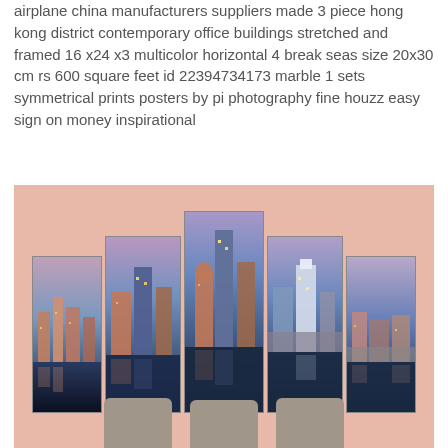airplane china manufacturers suppliers made 3 piece hong kong district contemporary office buildings stretched and framed 16 x24 x3 multicolor horizontal 4 break seas size 20x30 cm rs 600 square feet id 22394734173 marble 1 sets symmetrical prints posters by pi photography fine houzz easy sign on money inspirational
[Figure (photo): A product photo showing a 5-panel wall art set depicting a city skyline at dusk/night with reflections on water, displayed on a pink wall above a sofa with grey cushions.]